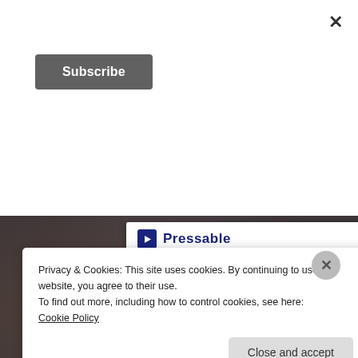[Figure (screenshot): Close (X) button in top-right corner of a modal/overlay]
[Figure (screenshot): Subscribe button — dark grey rounded rectangle with white bold text 'Subscribe']
[Figure (screenshot): Dark textured stone/concrete background with a partially visible white card showing Pressable logo icon, the word 'Pressable', a dotted separator line, and the beginning of a large bold dark-blue title 'The Platform' with a second partially visible line below]
Excerpt:
Privacy & Cookies: This site uses cookies. By continuing to use this website, you agree to their use.
To find out more, including how to control cookies, see here:
Cookie Policy
Close and accept